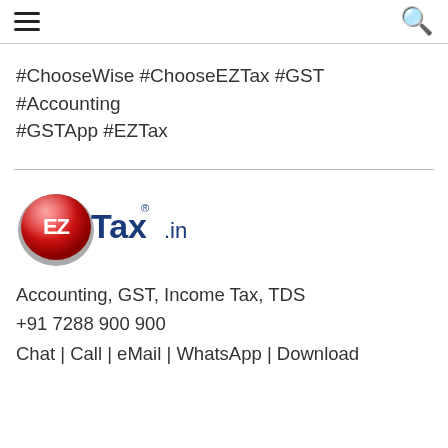menu | search
#ChooseWise #ChooseEZTax #GST #Accounting #GSTApp #EZTax
[Figure (logo): EZTax.in logo — red circular button with white 'EZ' text and blue 'Tax.in' text with registered trademark symbol]
Accounting, GST, Income Tax, TDS
+91 7288 900 900
Chat | Call | eMail | WhatsApp | Download